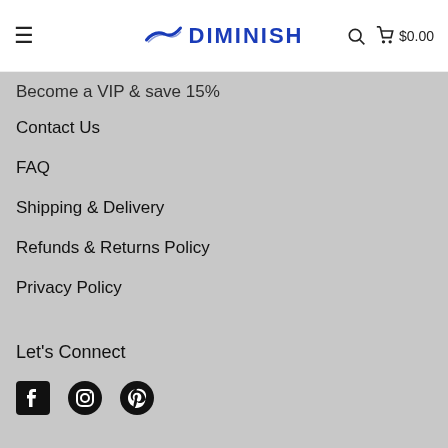DIMINISH — $0.00 cart
Become a VIP & save 15%
Contact Us
FAQ
Shipping & Delivery
Refunds & Returns Policy
Privacy Policy
Let's Connect
[Figure (infographic): Social media icons: Facebook, Instagram, Pinterest]
Get in touch